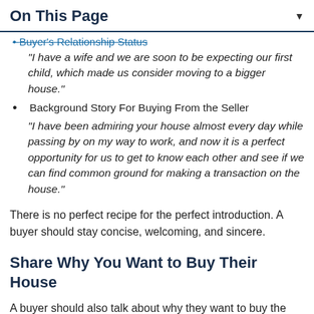On This Page
Buyer's Relationship Status
“I have a wife and we are soon to be expecting our first child, which made us consider moving to a bigger house.”
Background Story For Buying From the Seller
“I have been admiring your house almost every day while passing by on my way to work, and now it is a perfect opportunity for us to get to know each other and see if we can find common ground for making a transaction on the house.”
There is no perfect recipe for the perfect introduction. A buyer should stay concise, welcoming, and sincere.
Share Why You Want to Buy Their House
A buyer should also talk about why they want to buy the house. A buyer should not list reasons one by one, but they should try to make a concise description of what they like about the house. First-time home buyers may want to